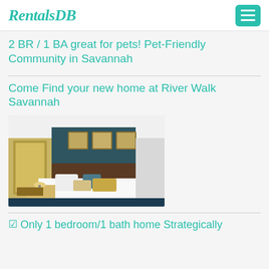RentalsDB
2 BR / 1 BA great for pets! Pet-Friendly Community in Savannah
Come Find your new home at River Walk Savannah
[Figure (photo): Interior bedroom photo showing a bed with white and gold pillows, dark teal accent wall with framed art, white nightstand with lamp, and a doorway to a closet]
☑ Only 1 bedroom/1 bath home Strategically